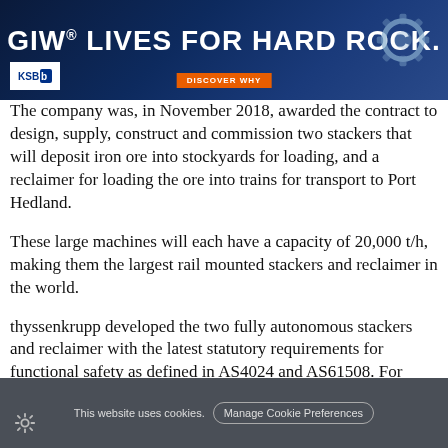[Figure (illustration): GIW advertisement banner with text 'GIW® LIVES FOR HARD ROCK.' and KSB logo, orange 'DISCOVER WHY' button, dark blue background with industrial gear imagery]
The company was, in November 2018, awarded the contract to design, supply, construct and commission two stackers that will deposit iron ore into stockyards for loading, and a reclaimer for loading the ore into trains for transport to Port Hedland.
These large machines will each have a capacity of 20,000 t/h, making them the largest rail mounted stackers and reclaimer in the world.
thyssenkrupp developed the two fully autonomous stackers and reclaimer with the latest statutory requirements for functional safety as defined in AS4024 and AS61508. For machine collision avoidance, a
This website uses cookies.  Manage Cookie Preferences